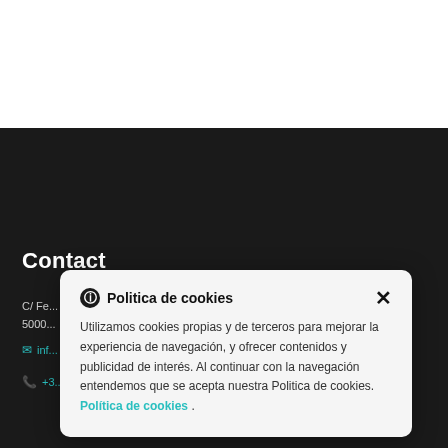Contact
C/ Fe...
5000...
inf...
+3...
Politica de cookies
Utilizamos cookies propias y de terceros para mejorar la experiencia de navegación, y ofrecer contenidos y publicidad de interés. Al continuar con la navegación entendemos que se acepta nuestra Politica de cookies. Política de cookies .